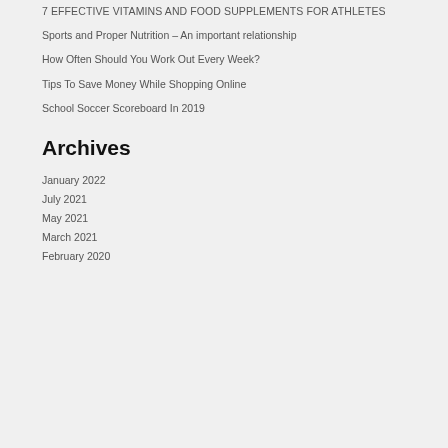7 EFFECTIVE VITAMINS AND FOOD SUPPLEMENTS FOR ATHLETES
Sports and Proper Nutrition – An important relationship
How Often Should You Work Out Every Week?
Tips To Save Money While Shopping Online
School Soccer Scoreboard In 2019
Archives
January 2022
July 2021
May 2021
March 2021
February 2020